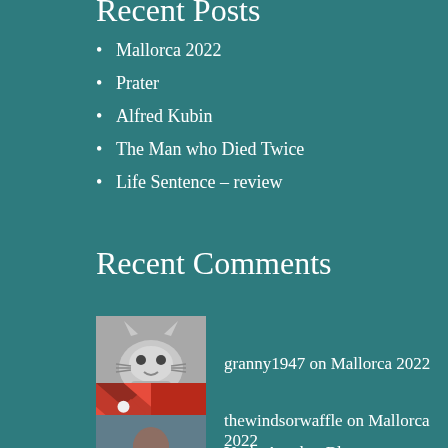Recent Posts
Mallorca 2022
Prater
Alfred Kubin
The Man who Died Twice
Life Sentence – review
Recent Comments
granny1947 on Mallorca 2022
thewindsorwaffle on Mallorca 2022
Yeah, Another Blogge… on Mallorca 2022